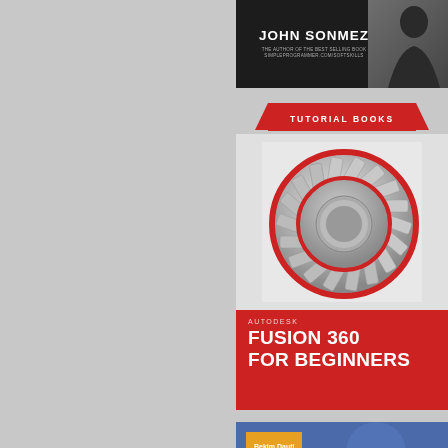[Figure (illustration): Book cover: John Sonmez - The Author of the Best Selling Book, with author photo silhouette on dark background]
[Figure (illustration): Book cover: Tutorial Books - Autodesk Fusion 360 For Beginners, with red banner header, 3D rendered tapered roller bearing image, and red footer with title text]
[Figure (illustration): Book cover: Windows Server 2016 Administration Fundamentals by Bekim Dauti, blue background with circular blob decorations, orange author tag]